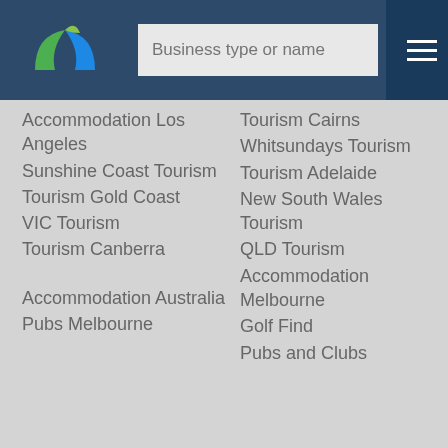[Figure (logo): Green and blue leaf/bird logo on dark navy background]
Accommodation Los Angeles
Sunshine Coast Tourism
Tourism Gold Coast
VIC Tourism
Tourism Canberra
Accommodation Australia
Pubs Melbourne
Tourism Cairns
Whitsundays Tourism
Tourism Adelaide
New South Wales Tourism
QLD Tourism
Accommodation Melbourne
Golf Find
Pubs and Clubs